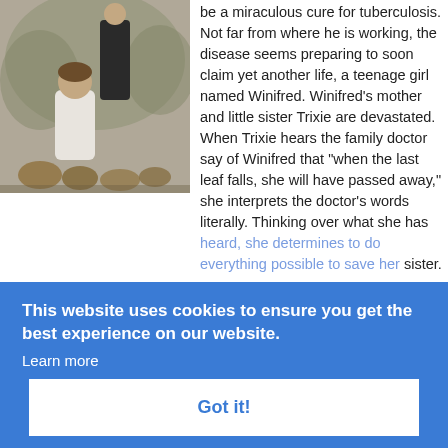[Figure (photo): Black and white photograph of an adult and a young child outdoors, surrounded by foliage and pumpkins or gourds.]
be a miraculous cure for tuberculosis. Not far from where he is working, the disease seems preparing to soon claim yet another life, a teenage girl named Winifred. Winifred's mother and little sister Trixie are devastated. When Trixie hears the family doctor say of Winifred that "when the last leaf falls, she will have passed away," she interprets the doctor's words literally. Thinking over what she has heard, she determines to do everything possible to save her sister.
February 15th - March - 1912
Vote Count: 53
Vote Average: 6.7/10
This website uses cookies to ensure you get the best experience on our website.
Learn more
Got it!